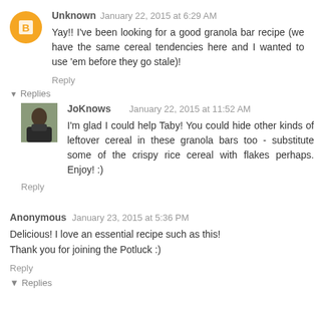Unknown  January 22, 2015 at 6:29 AM
Yay!! I've been looking for a good granola bar recipe (we have the same cereal tendencies here and I wanted to use 'em before they go stale)!
Reply
Replies
JoKnows  January 22, 2015 at 11:52 AM
I'm glad I could help Taby! You could hide other kinds of leftover cereal in these granola bars too - substitute some of the crispy rice cereal with flakes perhaps. Enjoy! :)
Reply
Anonymous  January 23, 2015 at 5:36 PM
Delicious! I love an essential recipe such as this!
Thank you for joining the Potluck :)
Reply
Replies